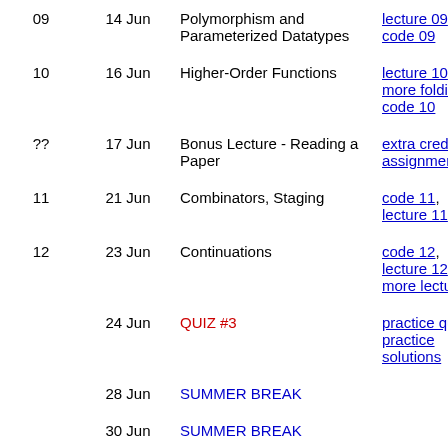| # | Date | Topic | Materials |
| --- | --- | --- | --- |
| 09 | 14 Jun | Polymorphism and Parameterized Datatypes | lecture 09, code 09 |
| 10 | 16 Jun | Higher-Order Functions | lecture 10, more folding, code 10 |
| ?? | 17 Jun | Bonus Lecture - Reading a Paper | extra credit assignment |
| 11 | 21 Jun | Combinators, Staging | code 11, lecture 11 |
| 12 | 23 Jun | Continuations | code 12, lecture 12, more lecture 12 |
|  | 24 Jun | QUIZ #3 | practice quiz, practice solutions |
|  | 28 Jun | SUMMER BREAK |  |
|  | 30 Jun | SUMMER BREAK |  |